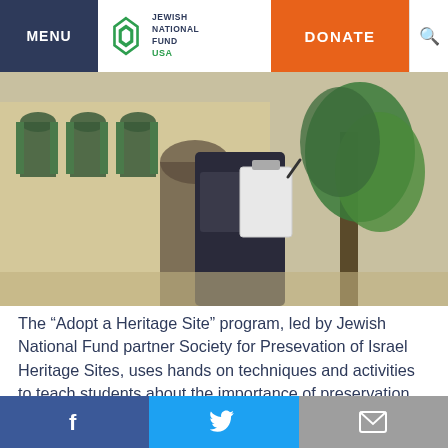MENU | Jewish National Fund USA | DONATE
[Figure (photo): A student holding a notebook/clipboard outdoors near a historic building with arched windows and green shutters, with a tree visible on the right.]
The “Adopt a Heritage Site” program, led by Jewish National Fund partner Society for Presevation of Israel Heritage Sites, uses hands on techniques and activities to teach students about the importance of preservation and conservation. In 2017, more than 5,000 students from 160 different classes and 50 different schools across Israel participated in the “Adopt a Heritage Site” program. One of the most unique projects from 2017 was SPIHS’s work with the Albironi school. This school, whose students come from Nazareth and the surrounding area,
Facebook | Twitter | Email